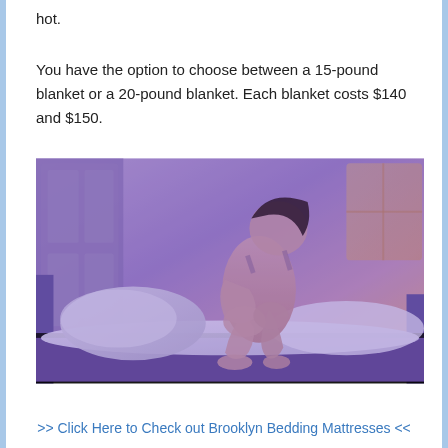hot.
You have the option to choose between a 15-pound blanket or a 20-pound blanket. Each blanket costs $140 and $150.
[Figure (photo): A woman sitting on a bed with white bedding and pillows in a room with a purple/violet color overlay. She is sitting with her knees drawn up to her chest.]
>> Click Here to Check out Brooklyn Bedding Mattresses <<